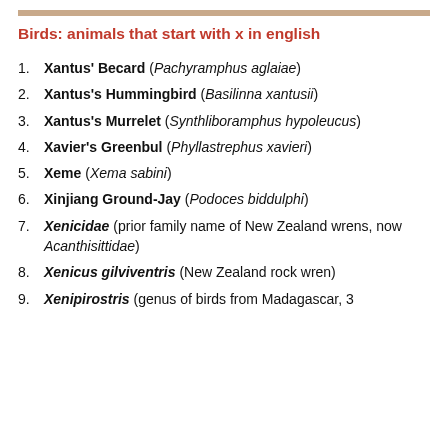Birds: animals that start with x in english
Xantus' Becard (Pachyramphus aglaiae)
Xantus's Hummingbird (Basilinna xantusii)
Xantus's Murrelet (Synthliboramphus hypoleucus)
Xavier's Greenbul (Phyllastrephus xavieri)
Xeme (Xema sabini)
Xinjiang Ground-Jay (Podoces biddulphi)
Xenicidae (prior family name of New Zealand wrens, now Acanthisittidae)
Xenicus gilviventris (New Zealand rock wren)
Xenipirostris (genus of birds from Madagascar, 3